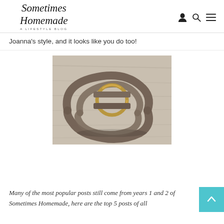Sometimes Homemade — A Lifestyle Blog
Joanna's style, and it looks like you do too!
[Figure (photo): A brown leather belt with a gold/brass O-ring buckle, coiled on a light wood surface]
Many of the most popular posts still come from years 1 and 2 of Sometimes Homemade, here are the top 5 posts of all